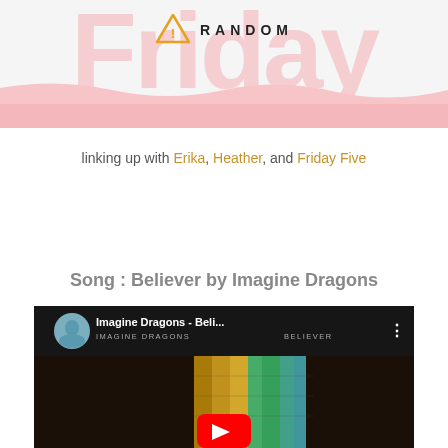[Figure (illustration): Blog header area with a large decorative pink/coral script text partially visible (cut off), a warning/logo icon with 'RANDOM' text, and a pink wave shape at the bottom of the header band.]
linking up with Erika, Heather, and Friday Five
Song : Believer by Imagine Dragons
[Figure (screenshot): YouTube video thumbnail for 'Imagine Dragons - Beli...' showing the band members in a circular avatar, video title, channel name 'IMAGINE DRAGONS', and the word 'BELIEVER' visible. A red YouTube play button is at the bottom center. The video background shows colorful vertical stripes on a dark background.]